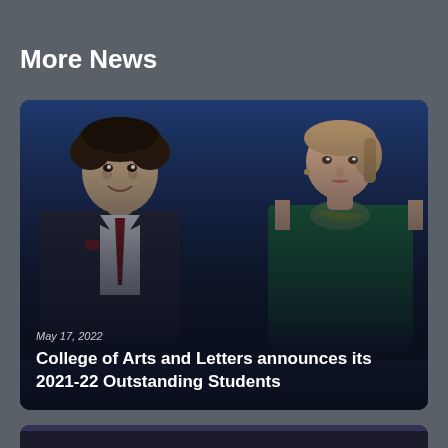More News
[Figure (photo): News card showing two people: a young man in a dark suit with red tie on the left, and a woman in a green dress with scarf on the right, both against a dark blue background. Date: May 17, 2022.]
May 17, 2022
College of Arts and Letters announces its 2021-22 Outstanding Students
[Figure (photo): Partially visible second news card at the bottom of the page.]